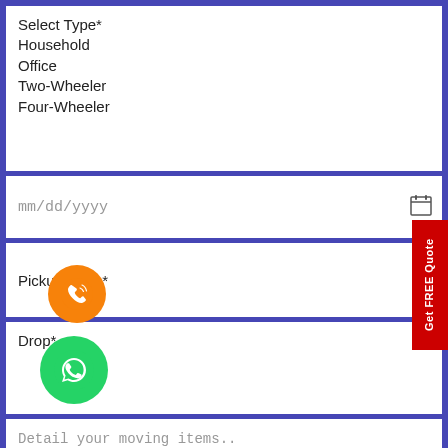Select Type*
Household
Office
Two-Wheeler
Four-Wheeler
mm/dd/yyyy
Pickup From*
Drop*
Detail your moving items..
Submit